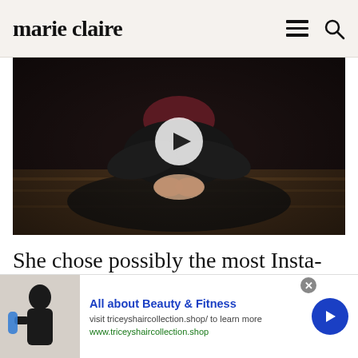marie claire
[Figure (screenshot): Video thumbnail showing a person seated in a yoga/butterfly pose on a mat, wearing black pants and a dark red/maroon top. A white play button circle is visible in the center.]
She chose possibly the most Insta-worthy background of all time: one of Buckingham Palace's opulent hallways. Lined with a patterned red carpet, undoubtedly expensive
[Figure (infographic): Advertisement banner: 'All about Beauty & Fitness' with image of person holding water bottle. Text: 'visit triceyshaircollection.shop/ to learn more' and 'www.triceyshaircollection.shop'. Blue arrow button on right side.]